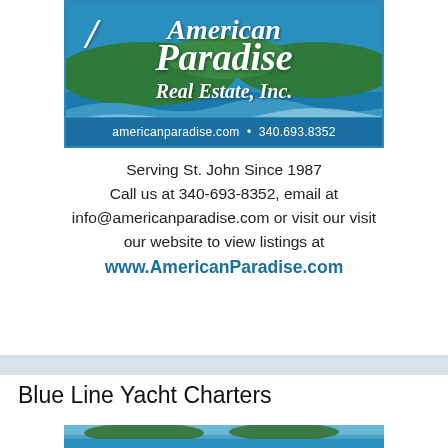[Figure (logo): American Paradise Real Estate, Inc. logo with tropical island aerial photo background, blue ocean colors, white italic script text, and contact bar showing americanparadise.com and 340.693.8352]
Serving St. John Since 1987
Call us at 340-693-8352, email at info@americanparadise.com or visit our visit our website to view listings at www.AmericanParadise.com
Blue Line Yacht Charters
[Figure (photo): Partial photo of a tropical ocean scene, bottom of page, cropped]